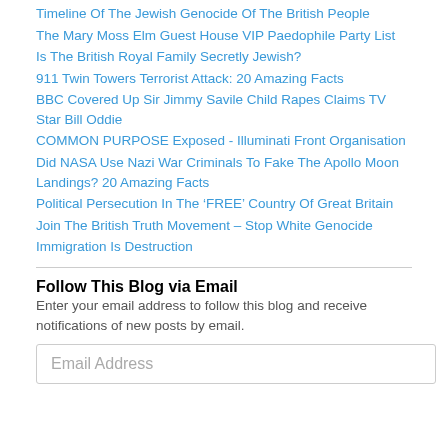Timeline Of The Jewish Genocide Of The British People
The Mary Moss Elm Guest House VIP Paedophile Party List
Is The British Royal Family Secretly Jewish?
911 Twin Towers Terrorist Attack: 20 Amazing Facts
BBC Covered Up Sir Jimmy Savile Child Rapes Claims TV Star Bill Oddie
COMMON PURPOSE Exposed - Illuminati Front Organisation
Did NASA Use Nazi War Criminals To Fake The Apollo Moon Landings? 20 Amazing Facts
Political Persecution In The ‘FREE’ Country Of Great Britain
Join The British Truth Movement – Stop White Genocide
Immigration Is Destruction
Follow This Blog via Email
Enter your email address to follow this blog and receive notifications of new posts by email.
Email Address